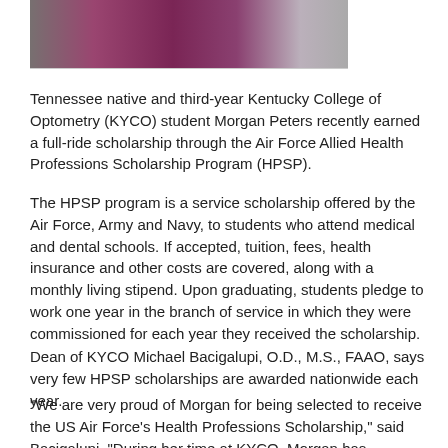[Figure (photo): Partial photo of a person wearing a purple/maroon top, cropped at the top of the page]
Tennessee native and third-year Kentucky College of Optometry (KYCO) student Morgan Peters recently earned a full-ride scholarship through the Air Force Allied Health Professions Scholarship Program (HPSP).
The HPSP program is a service scholarship offered by the Air Force, Army and Navy, to students who attend medical and dental schools. If accepted, tuition, fees, health insurance and other costs are covered, along with a monthly living stipend. Upon graduating, students pledge to work one year in the branch of service in which they were commissioned for each year they received the scholarship.
Dean of KYCO Michael Bacigalupi, O.D., M.S., FAAO, says very few HPSP scholarships are awarded nationwide each year.
"We are very proud of Morgan for being selected to receive the US Air Force's Health Professions Scholarship," said Bacigalupi. "During her time at KYCO, Morgan has demonstrated great intellectual ability, people skills and character. These qualities will certainly serve her